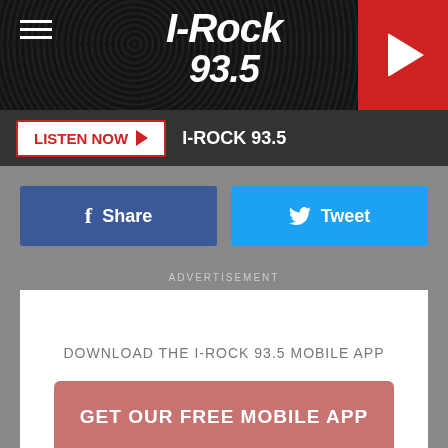[Figure (screenshot): I-Rock 93.5 radio station website screenshot header with logo and play button]
I-ROCK 93.5
LISTEN NOW ▶  I-ROCK 93.5
f  Share
Tweet
ADVERTISEMENT
DOWNLOAD THE I-ROCK 93.5 MOBILE APP
GET OUR FREE MOBILE APP